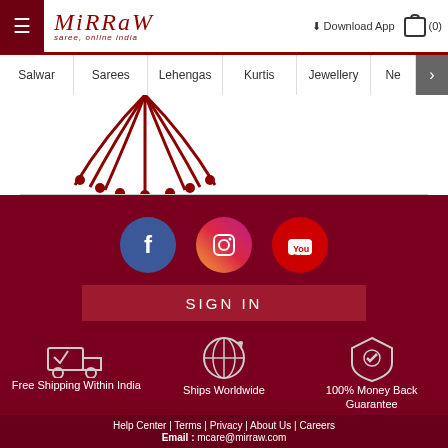Mirraw - saree, online india | Download App | Cart (0)
Salwar | Sarees | Lehengas | Kurtis | Jewellery | Ne >
[Figure (illustration): Decorative mandala patterns in dark red on white background]
[Figure (illustration): Social media icons: Facebook (blue circle), Instagram (gradient circle), YouTube (red circle); SIGN IN button; Free Shipping Within India, Ships Worldwide, 100% Money Back Guarantee icons]
Help Center | Terms | Privacy | About Us | Careers  Email : mcare@mirraw.com